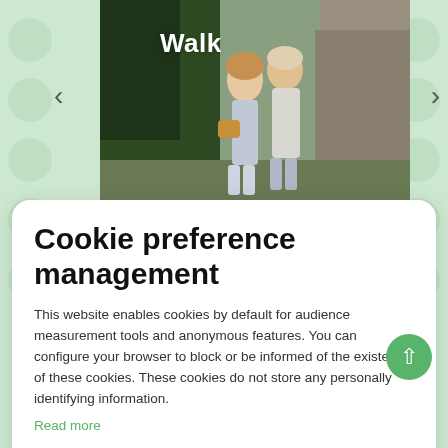[Figure (photo): Two people walking outdoors near trees and a stone wall, with the label 'Walk' overlaid in white text. Navigation arrows on either side.]
Cookie preference management
This website enables cookies by default for audience measurement tools and anonymous features. You can configure your browser to block or be informed of the existence of these cookies. These cookies do not store any personally identifying information.
Read more
No thanks    I choose    Ok for me